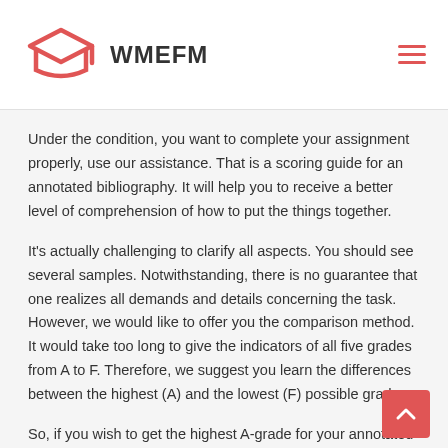WMEFM
Under the condition, you want to complete your assignment properly, use our assistance. That is a scoring guide for an annotated bibliography. It will help you to receive a better level of comprehension of how to put the things together.
It's actually challenging to clarify all aspects. You should see several samples. Notwithstanding, there is no guarantee that one realizes all demands and details concerning the task. However, we would like to offer you the comparison method. It would take too long to give the indicators of all five grades from A to F. Therefore, we suggest you learn the differences between the highest (A) and the lowest (F) possible grades.
So, if you wish to get the highest A-grade for your annotated bibliography evaluation, it is supposed to have the following